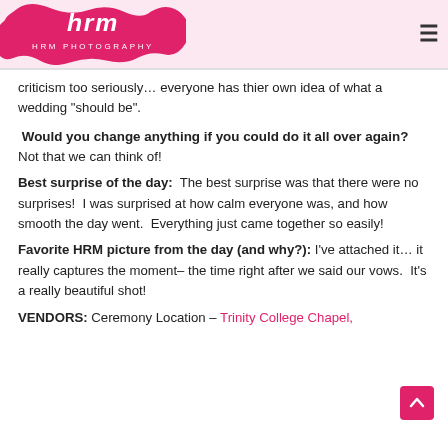HRM Photography
criticism too seriously… everyone has thier own idea of what a wedding “should be”.
Would you change anything if you could do it all over again? Not that we can think of!
Best surprise of the day:  The best surprise was that there were no surprises!  I was surprised at how calm everyone was, and how smooth the day went.  Everything just came together so easily!
Favorite HRM picture from the day (and why?): I’ve attached it… it really captures the moment– the time right after we said our vows.  It’s a really beautiful shot!
VENDORS: Ceremony Location – Trinity College Chapel,